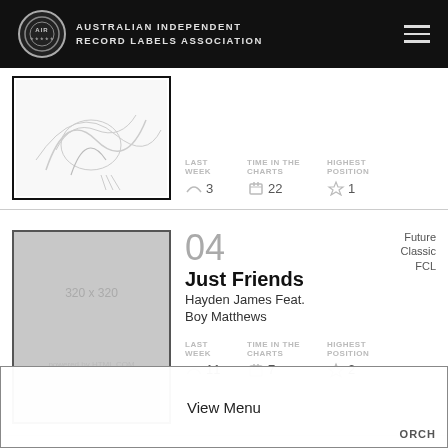AUSTRALIAN INDEPENDENT RECORD LABELS ASSOCIATION
[Figure (illustration): Album artwork thumbnail - line drawing illustration (partial/cropped)]
| LAST WEEK | TIME IN THE CHARTS | HIGHEST POSITION |
| --- | --- | --- |
| 3 | 22 | 1 |
04 Just Friends - Hayden James Feat. Boy Matthews - Future Classic FCL
[Figure (photo): Placeholder image 320 x 320]
| LAST WEEK | TIME IN THE CHARTS | HIGHEST POSITION |
| --- | --- | --- |
| 11 | 7 | 2 |
View Menu
ORCH